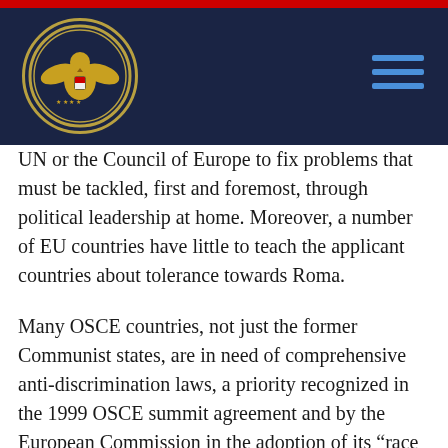Unfortunately, too few government leaders
[Figure (logo): OSCE Commission seal/logo — gold eagle emblem on dark navy circular badge with text around the border]
UN or the Council of Europe to fix problems that must be tackled, first and foremost, through political leadership at home. Moreover, a number of EU countries have little to teach the applicant countries about tolerance towards Roma.
Many OSCE countries, not just the former Communist states, are in need of comprehensive anti-discrimination laws, a priority recognized in the 1999 OSCE summit agreement and by the European Commission in the adoption of its “race directive” in June of last year. Regrettably, nearly two years after Bulgaria received praise from many quarters for agreeing to adopt such legislation; the government is not one step closer to fulfilling its commitment.